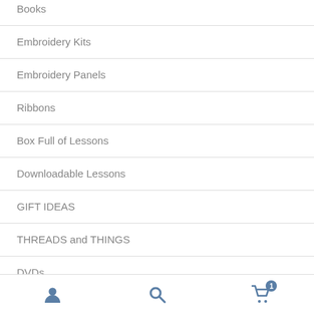Books
Embroidery Kits
Embroidery Panels
Ribbons
Box Full of Lessons
Downloadable Lessons
GIFT IDEAS
THREADS and THINGS
DVDs
Navigation bar with user, search, and cart icons